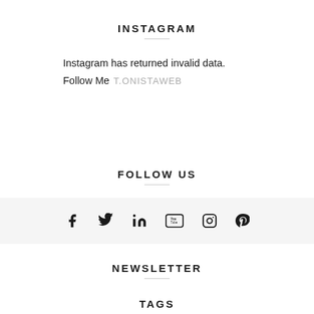INSTAGRAM
Instagram has returned invalid data.
Follow Me T.ONISTAWEB
FOLLOW US
[Figure (infographic): Social media icons row: Facebook, Twitter, LinkedIn, YouTube, Instagram, Pinterest on a light grey background]
NEWSLETTER
TAGS